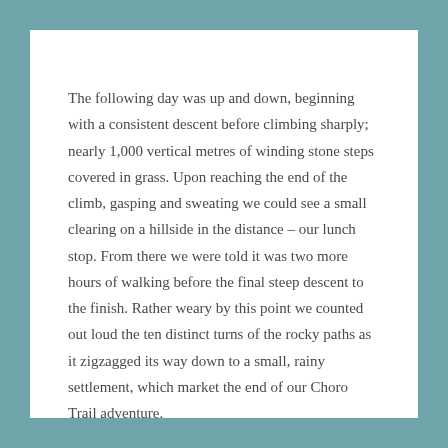The following day was up and down, beginning with a consistent descent before climbing sharply; nearly 1,000 vertical metres of winding stone steps covered in grass. Upon reaching the end of the climb, gasping and sweating we could see a small clearing on a hillside in the distance – our lunch stop. From there we were told it was two more hours of walking before the final steep descent to the finish. Rather weary by this point we counted out loud the ten distinct turns of the rocky paths as it zigzagged its way down to a small, rainy settlement, which market the end of our Choro Trail adventure.